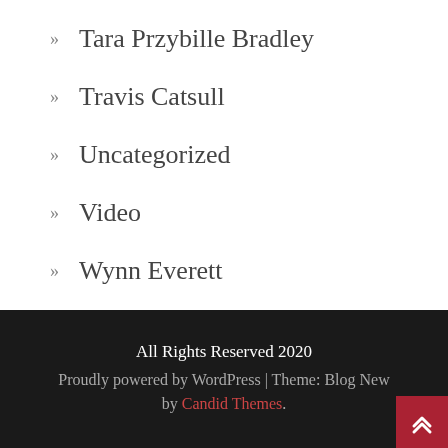» Tara Przybille Bradley
» Travis Catsull
» Uncategorized
» Video
» Wynn Everett
All Rights Reserved 2020
Proudly powered by WordPress | Theme: Blog New by Candid Themes.